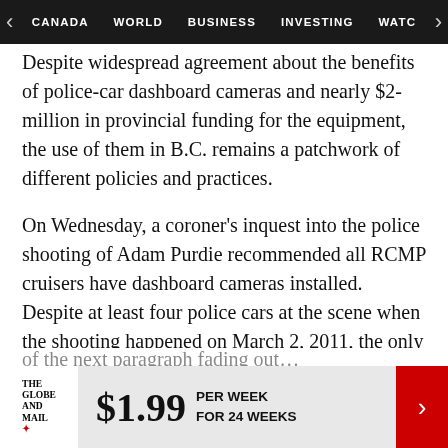CANADA | WORLD | BUSINESS | INVESTING | WATC
Despite widespread agreement about the benefits of police-car dashboard cameras and nearly $2-million in provincial funding for the equipment, the use of them in B.C. remains a patchwork of different policies and practices.
On Wednesday, a coroner's inquest into the police shooting of Adam Purdie recommended all RCMP cruisers have dashboard cameras installed. Despite at least four police cars at the scene when the shooting happened on March 2, 2011, the only video available of the incident was filmed on a personal camcorder installed on an officer's dashboard.
The Globe and Mail — $1.99 PER WEEK FOR 24 WEEKS